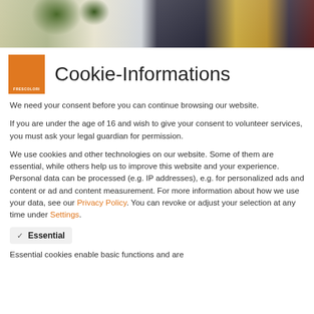[Figure (photo): Header banner photo showing interior space with plants, window, and a yin-yang symbol on dark background]
[Figure (logo): Frescolori orange square logo with white text 'FRESCOLORI']
Cookie-Informations
We need your consent before you can continue browsing our website.
If you are under the age of 16 and wish to give your consent to volunteer services, you must ask your legal guardian for permission.
We use cookies and other technologies on our website. Some of them are essential, while others help us to improve this website and your experience. Personal data can be processed (e.g. IP addresses), e.g. for personalized ads and content or ad and content measurement. For more information about how we use your data, see our Privacy Policy. You can revoke or adjust your selection at any time under Settings.
Essential
Essential cookies enable basic functions and are